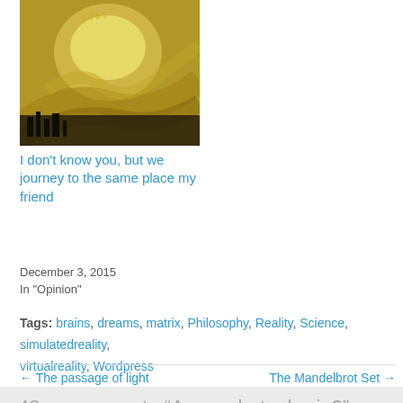[Figure (photo): Painting with swirling golden and dark tones, abstract landscape with circular sun-like form]
I don't know you, but we journey to the same place my friend
December 3, 2015
In "Opinion"
Tags: brains, dreams, matrix, Philosophy, Reality, Science, simulatedreality, virtualreality, Wordpress
← The passage of light
The Mandelbrot Set →
42 responses to "Are we but a brain?"
Alittlebitoutoffocus  February 7, 2017 at 11:06 am · Reply →